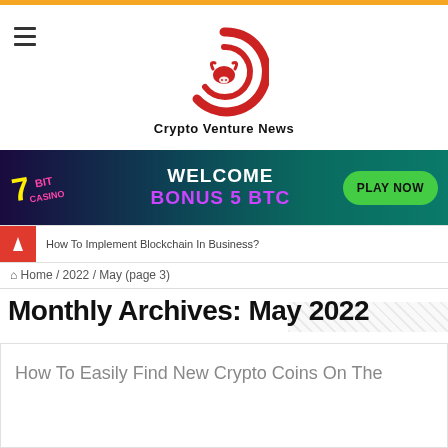[Figure (logo): Crypto Venture News logo - red circular C with bull head icon inside]
Crypto Venture News
[Figure (infographic): 7Bit Casino banner ad: WELCOME BONUS 5 BTC with PLAY NOW green button on dark teal/purple background]
How To Implement Blockchain In Business?
Home / 2022 / May (page 3)
Monthly Archives: May 2022
How To Easily Find New Crypto Coins On The